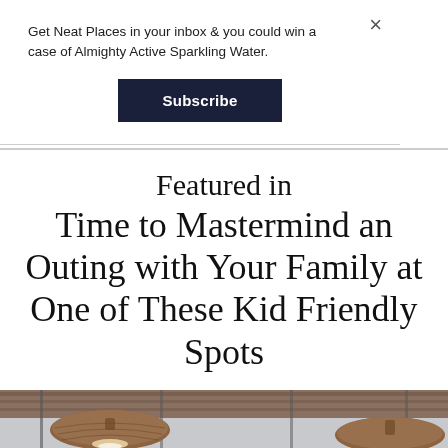Get Neat Places in your inbox & you could win a case of Almighty Active Sparkling Water.
Subscribe
Featured in Time to Mastermind an Outing with Your Family at One of These Kid Friendly Spots
[Figure (photo): Interior photo showing woven pendant light fixtures hanging from a covered outdoor or indoor structure with wooden ceiling beams visible in the background.]